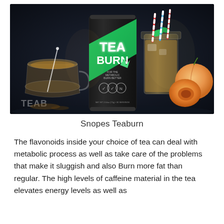[Figure (photo): Product photo of Tea Burn supplement container (black bag with green diagonal stripe and 'TEA BURN' text in white/green) centered, flanked by a glass tea cup with stirrer on the left, a mason jar with iced tea and striped straws on the right, and peach fruits on the far right. Dark background.]
Snopes Teaburn
The flavonoids inside your choice of tea can deal with metabolic process as well as take care of the problems that make it sluggish and also Burn more fat than regular. The high levels of caffeine material in the tea elevates energy levels as well as